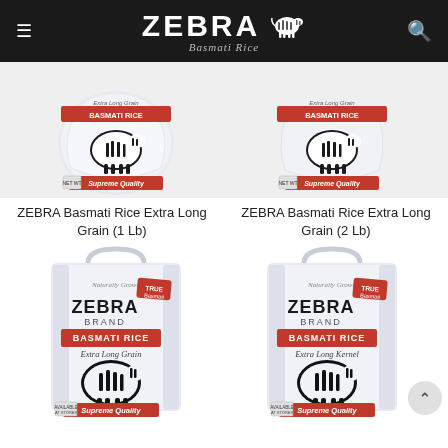ZEBRA Basmati Rice
[Figure (photo): Zebra Basmati Rice bag 1 Lb - small white bag with zebra logo, red banner, Extra Long Grain label]
[Figure (photo): Zebra Basmati Rice bag 2 Lb - small white bag with zebra logo, red banner, Extra Long Grain label]
ZEBRA Basmati Rice Extra Long Grain (1 Lb)
ZEBRA Basmati Rice Extra Long Grain (2 Lb)
[Figure (photo): Zebra Basmati Rice tote-style bag 5 Lb - large white bag with handle, ZEBRA BRAND BASMATI RICE Extra Long Grain, zebra illustration, Supreme Quality]
[Figure (photo): Zebra Basmati Rice large bag 10 Lb - large white bag with handle, ZEBRA BRAND BASMATI RICE Extra Long Kernel, zebra illustration, Supreme Quality]